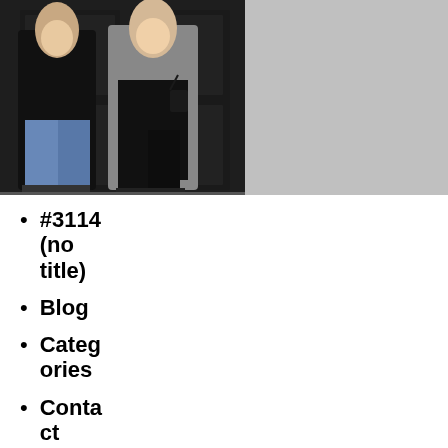[Figure (photo): Two women standing in front of a dark door. One wears a long black coat, the other wears a grey coat with blue jeans.]
#3114 (no title)
Blog
Categories
Contact
DISCLAIMER